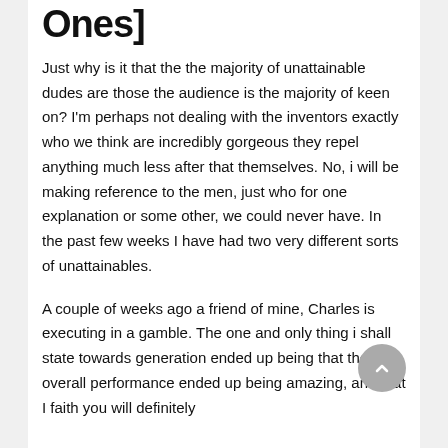Ones]
Just why is it that the the majority of unattainable dudes are those the audience is the majority of keen on? I'm perhaps not dealing with the inventors exactly who we think are incredibly gorgeous they repel anything much less after that themselves. No, i will be making reference to the men, just who for one explanation or some other, we could never have. In the past few weeks I have had two very different sorts of unattainables.
A couple of weeks ago a friend of mine, Charles is executing in a gamble. The one and only thing i shall state towards generation ended up being that their overall performance ended up being amazing, and that I faith you will definitely